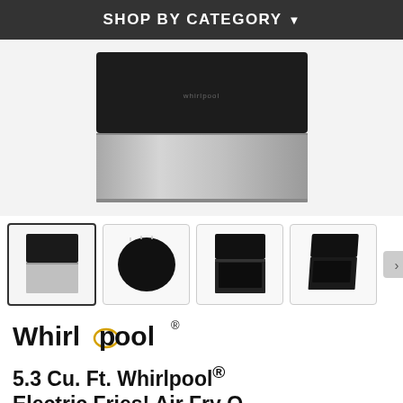SHOP BY CATEGORY ▾
[Figure (photo): Main product image of a Whirlpool electric range/stove with black top panel and stainless steel lower body, shown from front angle on white/light gray background]
[Figure (photo): Thumbnail 1 (selected): Front view of Whirlpool electric range, stainless steel and black]
[Figure (photo): Thumbnail 2: Top-down view of the stove's black glass cooktop]
[Figure (photo): Thumbnail 3: Front view of range with door slightly open showing interior]
[Figure (photo): Thumbnail 4: Angled side view of the range]
[Figure (logo): Whirlpool brand logo with gold/yellow oval accent on the letter 'o']
5.3 Cu. Ft. Whirlpool® Electric Fries! Air Fry O...